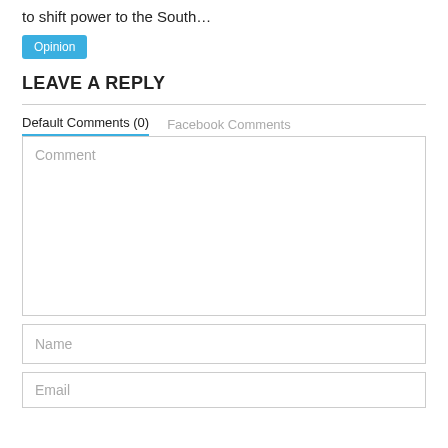to shift power to the South…
Opinion
LEAVE A REPLY
Default Comments (0)   Facebook Comments
Comment
Name
Email